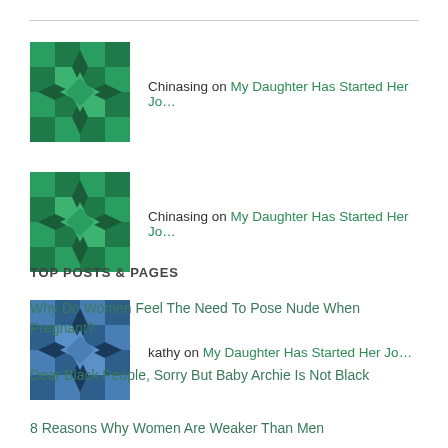Chinasing on My Daughter Has Started Her Jo…
Chinasing on My Daughter Has Started Her Jo…
kathy on My Daughter Has Started Her Jo…
TOP POSTS & PAGES
Why Do Women Feel The Need To Pose Nude When Pregnant?
Dear Black People, Sorry But Baby Archie Is Not Black
8 Reasons Why Women Are Weaker Than Men